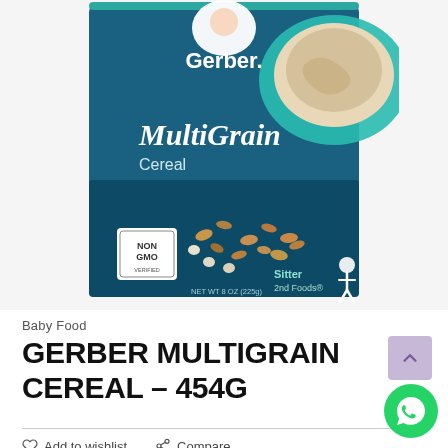[Figure (photo): Gerber MultiGrain Cereal 454g product package on white background. Dark teal/blue box with Gerber logo at top, large text 'MultiGrain Cereal', grain imagery, NON GMO badge, and 'Sitter 2nd Foods' label. Bowl of prepared cereal visible in upper right corner.]
Baby Food
GERBER MULTIGRAIN CEREAL – 454G